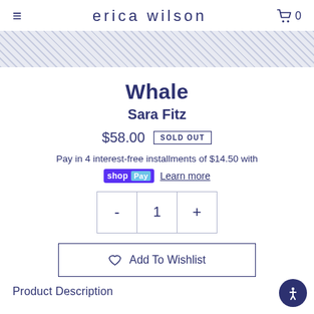erica wilson
[Figure (photo): Decorative textile/fabric banner image with a blue-grey crosshatch pattern]
Whale
Sara Fitz
$58.00  SOLD OUT
Pay in 4 interest-free installments of $14.50 with shop Pay  Learn more
[Figure (other): Quantity selector widget showing minus button, value 1, plus button]
Add To Wishlist
Product Description